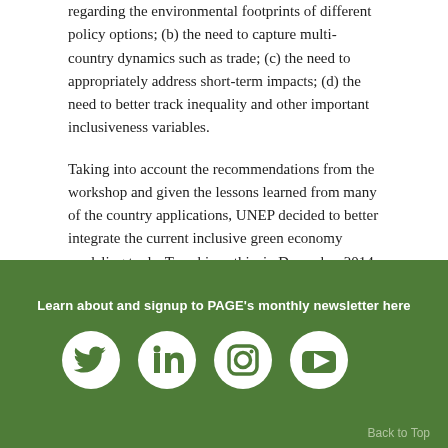regarding the environmental footprints of different policy options; (b) the need to capture multi-country dynamics such as trade; (c) the need to appropriately address short-term impacts; (d) the need to better track inequality and other important inclusiveness variables.
Taking into account the recommendations from the workshop and given the lessons learned from many of the country applications, UNEP decided to better integrate the current inclusive green economy modeling tools. To achieve this, in December 2014, PAGE under UNEP's leadership initiated the IGEM tool project.
Learn about and signup to PAGE's monthly newsletter here
[Figure (illustration): Social media icons: Twitter, LinkedIn, Instagram, YouTube in white circles on green background]
Back to Top